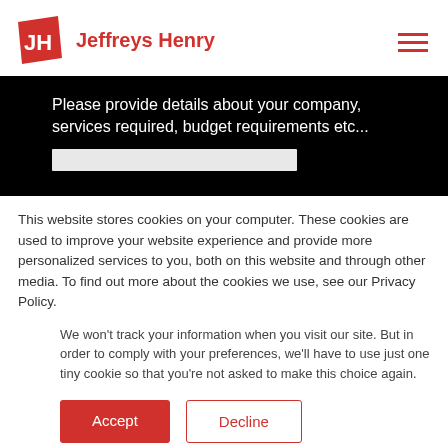Jeffreys Henry
Please provide details about your company, services required, budget requirements etc...
This website stores cookies on your computer. These cookies are used to improve your website experience and provide more personalized services to you, both on this website and through other media. To find out more about the cookies we use, see our Privacy Policy.
We won't track your information when you visit our site. But in order to comply with your preferences, we'll have to use just one tiny cookie so that you're not asked to make this choice again.
Accept
Decline